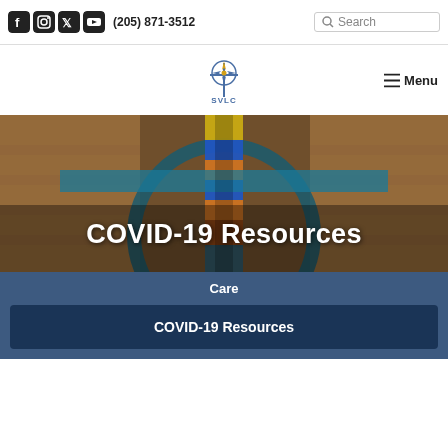(205) 871-3512  Search
[Figure (logo): SVLC church logo with compass rose and cross design, blue color]
≡ Menu
[Figure (photo): Interior church photo showing stained glass cross and circular architectural element with warm brick tones]
COVID-19 Resources
Care
COVID-19 Resources